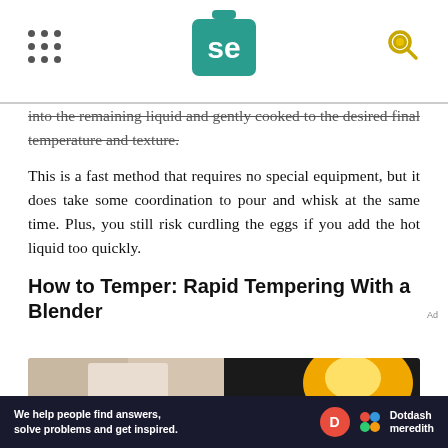Serious Eats (se logo)
into the remaining liquid and gently cooked to the desired final temperature and texture.
This is a fast method that requires no special equipment, but it does take some coordination to pour and whisk at the same time. Plus, you still risk curdling the eggs if you add the hot liquid too quickly.
How to Temper: Rapid Tempering With a Blender
[Figure (photo): Two-panel photo showing hands working with ingredients on the left (light background) and a yellow object (possibly a blender or bowl) on the right against a dark background.]
We help people find answers, solve problems and get inspired. Dotdash meredith